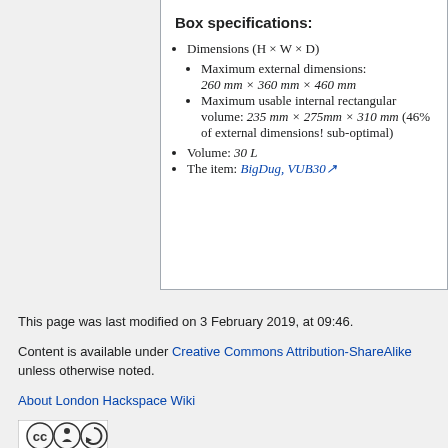Box specifications:
Dimensions (H × W × D)
Maximum external dimensions: 260 mm × 360 mm × 460 mm
Maximum usable internal rectangular volume: 235 mm × 275mm × 310 mm (46% of external dimensions! sub-optimal)
Volume: 30 L
The item: BigDug, VUB30
This page was last modified on 3 February 2019, at 09:46.
Content is available under Creative Commons Attribution-ShareAlike unless otherwise noted.
About London Hackspace Wiki
[Figure (logo): Creative Commons logo with CC BY SA icons]